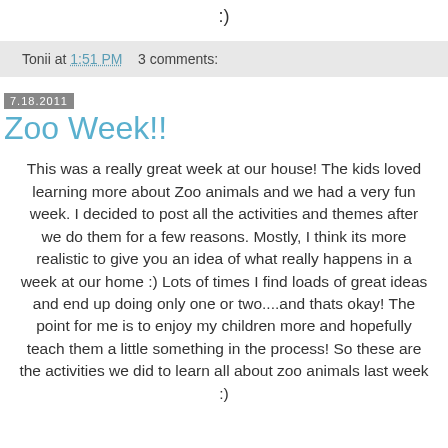:)
Tonii at 1:51 PM    3 comments:
7.18.2011
Zoo Week!!
This was a really great week at our house! The kids loved learning more about Zoo animals and we had a very fun week. I decided to post all the activities and themes after we do them for a few reasons. Mostly, I think its more realistic to give you an idea of what really happens in a week at our home :) Lots of times I find loads of great ideas and end up doing only one or two....and thats okay! The point for me is to enjoy my children more and hopefully teach them a little something in the process! So these are the activities we did to learn all about zoo animals last week :)